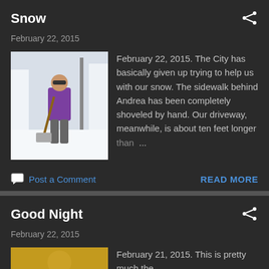Snow
February 22, 2015
[Figure (photo): Person standing in snow holding a shovel, wearing a purple jacket, with tall snow banks behind them]
February 22, 2015. The City has basically given up trying to help us with our snow. The sidewalk behind Andrea has been completely shoveled by hand. Our driveway, meanwhile, is about ten feet longer than ...
Post a Comment
READ MORE
Good Night
February 22, 2015
[Figure (photo): Partial thumbnail of a warm-toned photo, appears to be an indoor scene]
February 21, 2015. This is pretty much the